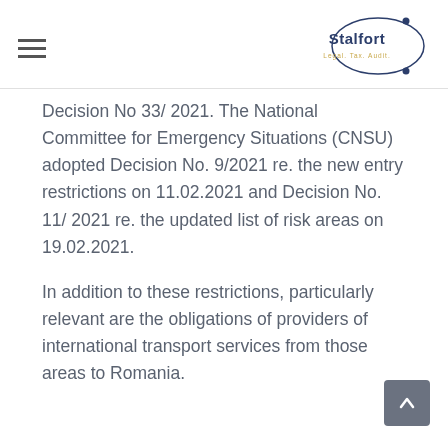Stalfort Legal. Tax. Audit.
Decision No 33/ 2021. The National Committee for Emergency Situations (CNSU) adopted Decision No. 9/2021 re. the new entry restrictions on 11.02.2021 and Decision No. 11/ 2021 re. the updated list of risk areas on 19.02.2021.
In addition to these restrictions, particularly relevant are the obligations of providers of international transport services from those areas to Romania.